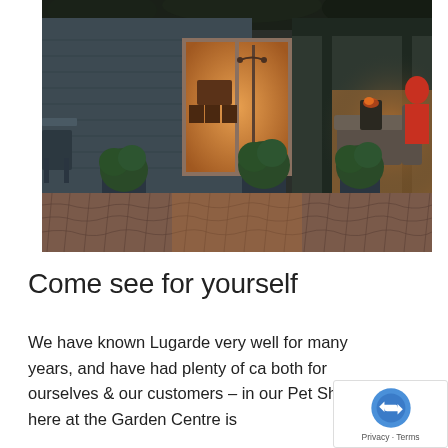[Figure (photo): Outdoor patio/garden area of a building with dark blue/grey wood siding, large glass sliding doors showing a warmly lit interior with dining furniture, two large round topiary plants in dark blue pots on a cobblestone/brick paved area, a covered outdoor seating area with wicker furniture and a wood stove on the right, evening/dusk lighting.]
Come see for yourself
We have known Lugarde very well for many years, and have had plenty of ca both for ourselves & our customers – in our Pet Shop here at the Garden Centre is